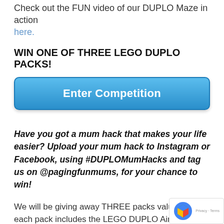Check out the FUN video of our DUPLO Maze in action here.
WIN ONE OF THREE LEGO DUPLO PACKS!
[Figure (other): Blue rounded button labeled 'Enter Competition']
Have you got a mum hack that makes your life easier? Upload your mum hack to Instagram or Facebook, using #DUPLOMumHacks and tag us on @pagingfunmums, for your chance to win!
We will be giving away THREE packs valued at $9 each pack includes the LEGO DUPLO Airport set, the